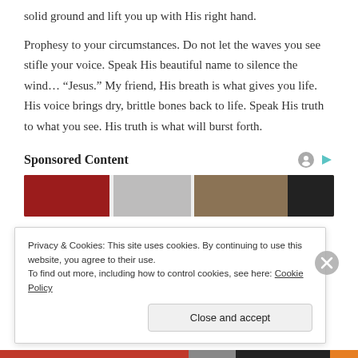solid ground and lift you up with His right hand.
Prophesy to your circumstances. Do not let the waves you see stifle your voice. Speak His beautiful name to silence the wind… “Jesus.” My friend, His breath is what gives you life. His voice brings dry, brittle bones back to life. Speak His truth to what you see. His truth is what will burst forth.
Sponsored Content
[Figure (photo): A horizontal strip showing a sponsored content advertisement image with reddish, gray, and brown/dark sections]
Privacy & Cookies: This site uses cookies. By continuing to use this website, you agree to their use.
To find out more, including how to control cookies, see here: Cookie Policy
Close and accept